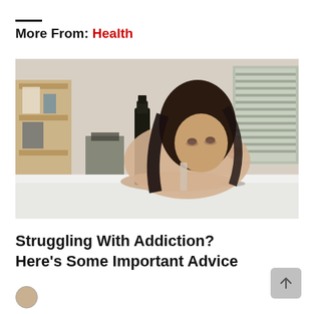More From: Health
[Figure (photo): A distressed young woman with dark hair leaning on a white table next to a wine bottle and a glass of red wine, in an indoor setting with wooden shelving in the background.]
Struggling With Addiction? Here’s Some Important Advice